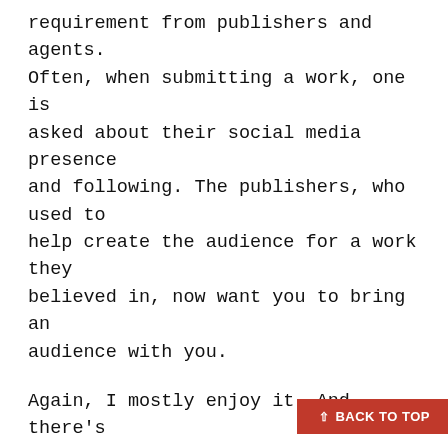requirement from publishers and agents. Often, when submitting a work, one is asked about their social media presence and following. The publishers, who used to help create the audience for a work they believed in, now want you to bring an audience with you.
Again, I mostly enjoy it. And there's nothing better than the excitement and interest and validation that one receives from supportive fans and other artists. Still, sometimes, it becomes necessary to squirrel yourself away and just do the work. Sometimes all that other stuff is too much and it can actually hurt the creative process. And, for me, it's often difficult to "toot my own horn" too loudly. I feel weird